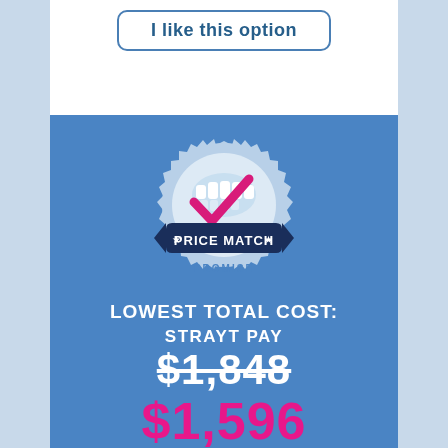I like this option
[Figure (logo): Price Match Promise badge/seal with a pink checkmark, blue ribbon banner reading PRICE MATCH with stars, and PROMISE text below]
LOWEST TOTAL COST:
STRAYT PAY
$1,848 (strikethrough)
$1,596